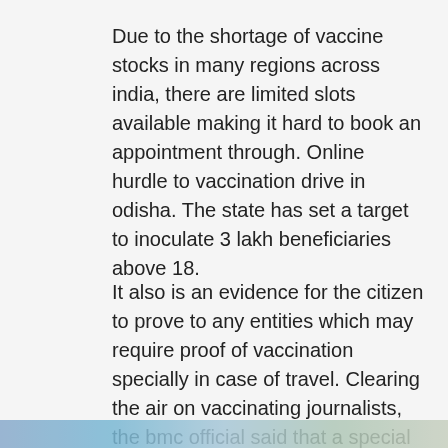Due to the shortage of vaccine stocks in many regions across india, there are limited slots available making it hard to book an appointment through. Online hurdle to vaccination drive in odisha. The state has set a target to inoculate 3 lakh beneficiaries above 18.
It also is an evidence for the citizen to prove to any entities which may require proof of vaccination specially in case of travel. Clearing the air on vaccinating journalists, the bmc official said that a special drive will also be launched soon to administer the second dose of the vaccine to the frontline warriors in the city. It's caused by a virus called coronavirus.
[Figure (photo): Partial view of an image at the bottom of the page, appears to show people or a scene related to vaccination]